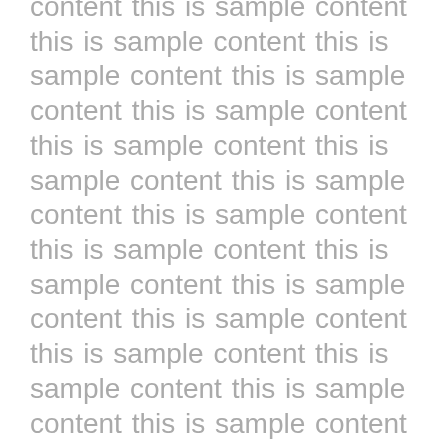content this is sample content this is sample content this is sample content this is sample content this is sample content this is sample content this is sample content this is sample content this is sample content this is sample content this is sample content this is sample content this is sample content this is sample content this is sample content this is sample content this is sample content